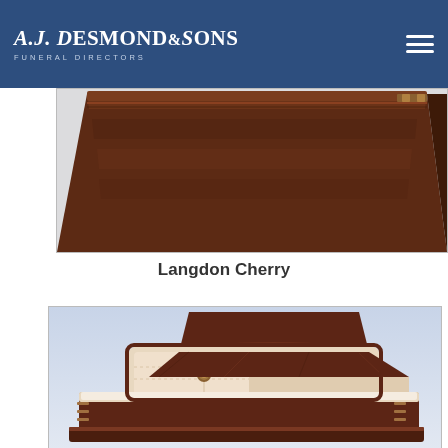A.J. Desmond & Sons Funeral Directors
[Figure (photo): Partial view of a dark cherry wood closed casket photographed from above at an angle, showing the lid and upper body of the casket against a light gray background.]
Langdon Cherry
[Figure (photo): An open dark cherry wood casket with cream/beige interior upholstery and decorative medallions on the head panel, shown from a slightly elevated angle against a light blue-gray gradient background.]